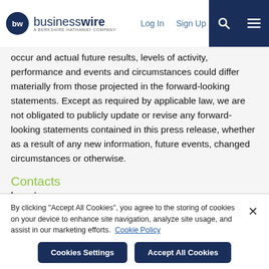businesswire — A Berkshire Hathaway Company | Log In | Sign Up
occur and actual future results, levels of activity, performance and events and circumstances could differ materially from those projected in the forward-looking statements. Except as required by applicable law, we are not obligated to publicly update or revise any forward-looking statements contained in this press release, whether as a result of any new information, future events, changed circumstances or otherwise.
Contacts
Investor
Steven Tuch
By clicking "Accept All Cookies", you agree to the storing of cookies on your device to enhance site navigation, analyze site usage, and assist in our marketing efforts. Cookie Policy
Cookies Settings | Accept All Cookies